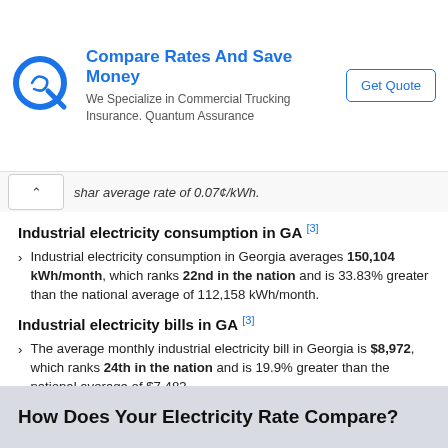[Figure (other): Advertisement banner: Compare Rates And Save Money - We Specialize in Commercial Trucking Insurance. Quantum Assurance. Get Quote button. Blue Q logo.]
shar average rate of 0.07¢/kWh.
Industrial electricity consumption in GA [3]
Industrial electricity consumption in Georgia averages 150,104 kWh/month, which ranks 22nd in the nation and is 33.83% greater than the national average of 112,158 kWh/month.
Industrial electricity bills in GA [3]
The average monthly industrial electricity bill in Georgia is $8,972, which ranks 24th in the nation and is 19.9% greater than the national average of $7,483.
⚡ Learn more about industrial electricity in Georgia
How Does Your Electricity Rate Compare?